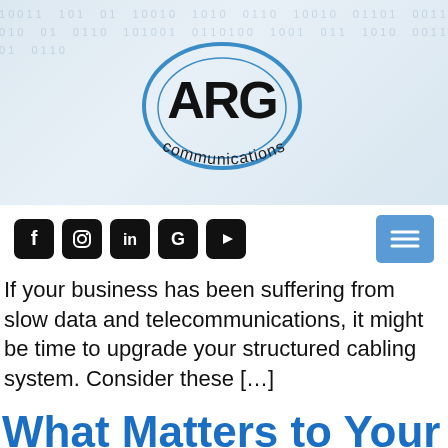[Figure (logo): ARG Communications logo — bold black letters ARG inside a blue oval ellipse with 'communications' text curving below]
[Figure (infographic): Navigation bar with social media icon buttons (Facebook, Instagram, LinkedIn, Google, YouTube) as white icons on black rounded squares, plus a blue hamburger menu button on the right]
If your business has been suffering from slow data and telecommunications, it might be time to upgrade your structured cabling system. Consider these [...]
What Matters to Your